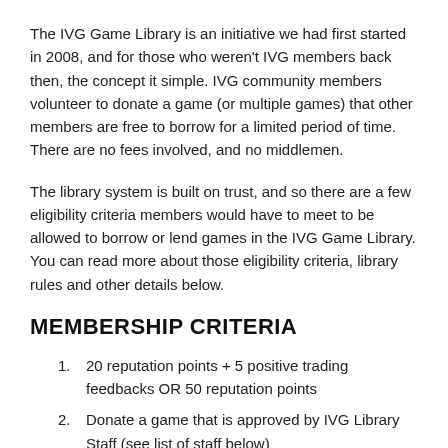The IVG Game Library is an initiative we had first started in 2008, and for those who weren't IVG members back then, the concept it simple. IVG community members volunteer to donate a game (or multiple games) that other members are free to borrow for a limited period of time. There are no fees involved, and no middlemen.
The library system is built on trust, and so there are a few eligibility criteria members would have to meet to be allowed to borrow or lend games in the IVG Game Library. You can read more about those eligibility criteria, library rules and other details below.
MEMBERSHIP CRITERIA
20 reputation points + 5 positive trading feedbacks OR 50 reputation points
Donate a game that is approved by IVG Library Staff (see list of staff below)